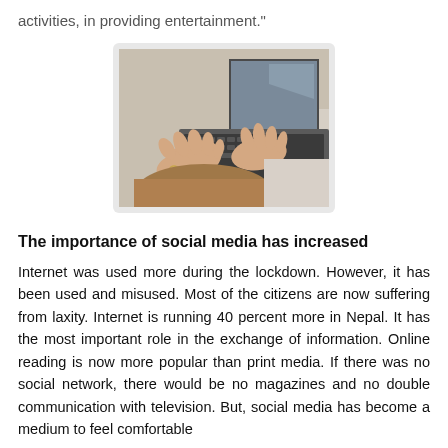activities, in providing entertainment."
[Figure (photo): Person typing on a laptop keyboard while sitting on a bed, close-up of hands on the keyboard with the laptop screen visible in the background.]
The importance of social media has increased
Internet was used more during the lockdown. However, it has been used and misused. Most of the citizens are now suffering from laxity. Internet is running 40 percent more in Nepal. It has the most important role in the exchange of information. Online reading is now more popular than print media. If there was no social network, there would be no magazines and no double communication with television. But, social media has become a medium to feel comfortable